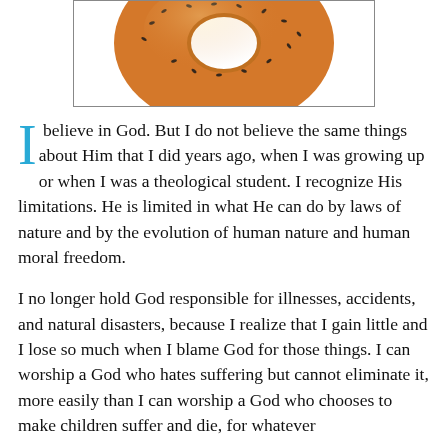[Figure (photo): A bagel with seeds (everything bagel) photographed from above against white background, inside a rectangular border. Only the top portion of the bagel is visible.]
I believe in God. But I do not believe the same things about Him that I did years ago, when I was growing up or when I was a theological student. I recognize His limitations. He is limited in what He can do by laws of nature and by the evolution of human nature and human moral freedom.
I no longer hold God responsible for illnesses, accidents, and natural disasters, because I realize that I gain little and I lose so much when I blame God for those things. I can worship a God who hates suffering but cannot eliminate it, more easily than I can worship a God who chooses to make children suffer and die, for whatever reason.